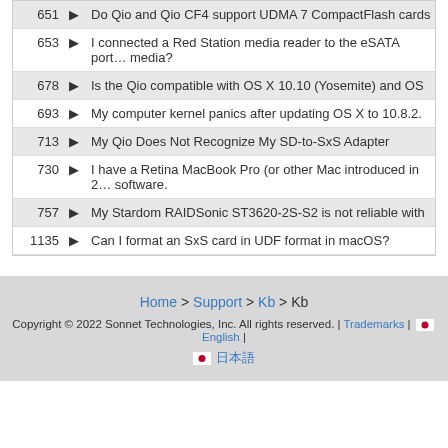| # |  | Title |
| --- | --- | --- |
| 651 | ▶ | Do Qio and Qio CF4 support UDMA 7 CompactFlash cards |
| 653 | ▶ | I connected a Red Station media reader to the eSATA port… media? |
| 678 | ▶ | Is the Qio compatible with OS X 10.10 (Yosemite) and OS… |
| 693 | ▶ | My computer kernel panics after updating OS X to 10.8.2.… |
| 713 | ▶ | My Qio Does Not Recognize My SD-to-SxS Adapter |
| 730 | ▶ | I have a Retina MacBook Pro (or other Mac introduced in 2… software. |
| 757 | ▶ | My Stardom RAIDSonic ST3620-2S-S2 is not reliable with… |
| 1135 | ▶ | Can I format an SxS card in UDF format in macOS? |
Home > Support > Kb > Kb
Copyright © 2022 Sonnet Technologies, Inc. All rights reserved. | Trademarks | English
🇯🇵 日本語